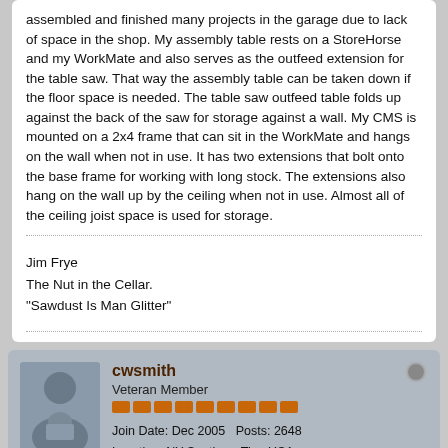assembled and finished many projects in the garage due to lack of space in the shop. My assembly table rests on a StoreHorse and my WorkMate and also serves as the outfeed extension for the table saw. That way the assembly table can be taken down if the floor space is needed. The table saw outfeed table folds up against the back of the saw for storage against a wall. My CMS is mounted on a 2x4 frame that can sit in the WorkMate and hangs on the wall when not in use. It has two extensions that bolt onto the base frame for working with long stock. The extensions also hang on the wall up by the ceiling when not in use. Almost all of the ceiling joist space is used for storage.
Jim Frye
The Nut in the Cellar.
"Sawdust Is Man Glitter"
cwsmith
Veteran Member
Join Date: Dec 2005   Posts: 2648
Location: NY Southern Tier, USA.
Tablesaw: BT3100-1
04-01-2022, 02:56 PM
#14
Just goes to show that with a bit of planning and imagination you can fit